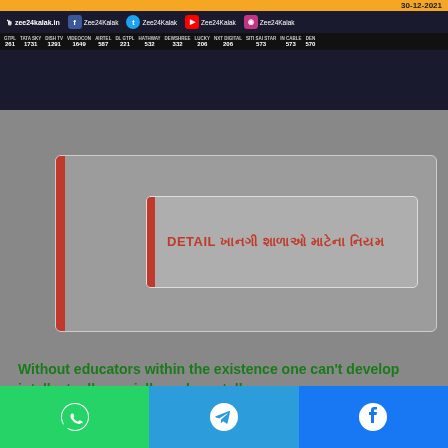[Figure (screenshot): Zee24Kalak website screenshot banner with social media links and channel numbers. Date: 30-12-2021. Channels: GTPL 261, TATA SKY 1731, DISH TV 1291, VIDEOCON 1649, AIRTEL 587, DL GTPL 221, HATHWAY 532, DEWSHREE 332, LUCKY 206, NXT DIGITAL 206, SITI SAI STAR 573, IN CABLE 573, DEN 570]
[Figure (screenshot): Gray box with red left border containing inner box with DETAIL heading in Hindi and red text]
Without educators within the existence one can't develop intellectually, socially and mentally.
For Best View Please Open This Website In CHROME /
[Figure (infographic): Bottom share bar with WhatsApp, Telegram, and Facebook buttons]